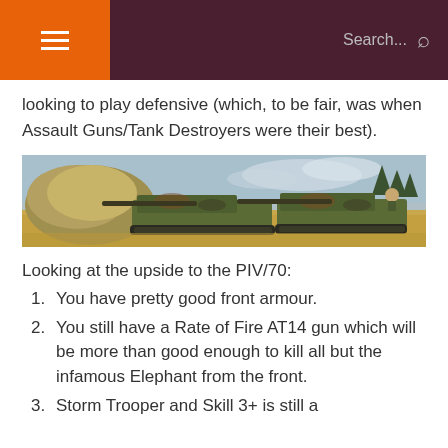Search...
looking to play defensive (which, to be fair, was when Assault Guns/Tank Destroyers were their best).
[Figure (photo): Photo of two camouflaged German Panzer IV/70 tank destroyer miniatures on a sandy terrain with trees in the background, used in a tabletop wargame.]
Looking at the upside to the PIV/70:
You have pretty good front armour.
You still have a Rate of Fire AT14 gun which will be more than good enough to kill all but the infamous Elephant from the front.
Storm Trooper and Skill 3+ is still a